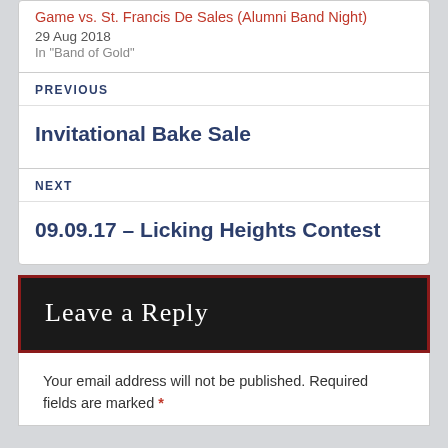Game vs. St. Francis De Sales (Alumni Band Night)
29 Aug 2018
In "Band of Gold"
PREVIOUS
Invitational Bake Sale
NEXT
09.09.17 – Licking Heights Contest
Leave a Reply
Your email address will not be published. Required fields are marked *